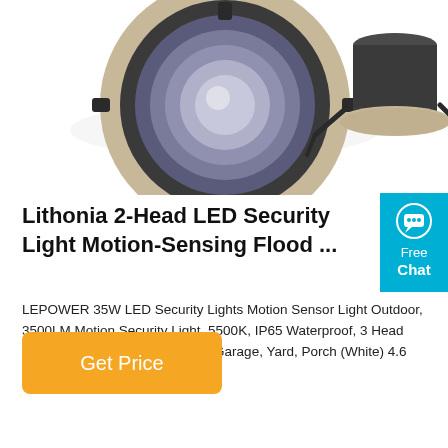[Figure (photo): Two recessed LED downlight fixtures shown from front and side angles against white background. Left fixture shows front view with gold/champagne ring and clear lens. Right fixture shows side/back view with mounting brackets.]
Lithonia 2-Head LED Security Light Motion-Sensing Flood ...
LEPOWER 35W LED Security Lights Motion Sensor Light Outdoor, 3500LM Motion Security Light, 5500K, IP65 Waterproof, 3 Head Motion Detected Flood Light for Garage, Yard, Porch (White) 4.6 out of 5 stars 16,591
[Figure (infographic): Free Chat widget button — cyan/teal rounded rectangle with speech bubble icon, text 'Free' and 'Chat' in white]
Get Price